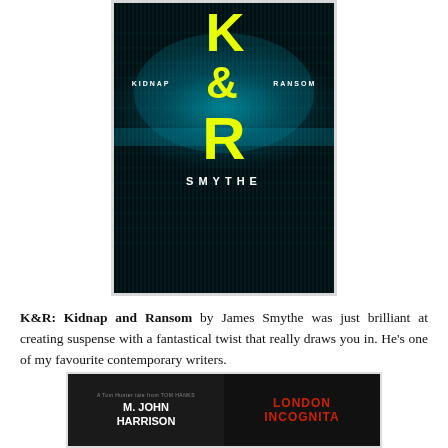[Figure (illustration): Book cover of K&R: Kidnap and Ransom by Smythe. Dark teal/black background with glitch digital effects, yellow letters K, ampersand (&), R stacked vertically, with 'KIDNAP' and 'RANSOM' in small white caps flanking the ampersand, and 'SMYTHE' at the bottom in white.]
K&R: Kidnap and Ransom by James Smythe was just brilliant at creating suspense with a fantastical twist that really draws you in. He's one of my favourite contemporary writers.
[Figure (illustration): Partial view of two book covers side by side: left is M. John Harrison book (dark background, white text), right is 'London Incognita' (black background, red text).]